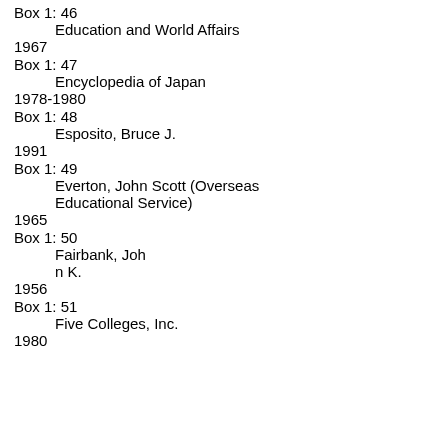Box 1: 46
    Education and World Affairs
1967
Box 1: 47
    Encyclopedia of Japan
1978-1980
Box 1: 48
    Esposito, Bruce J.
1991
Box 1: 49
    Everton, John Scott (Overseas Educational Service)
1965
Box 1: 50
    Fairbank, John K.
1956
Box 1: 51
    Five Colleges, Inc.
1980